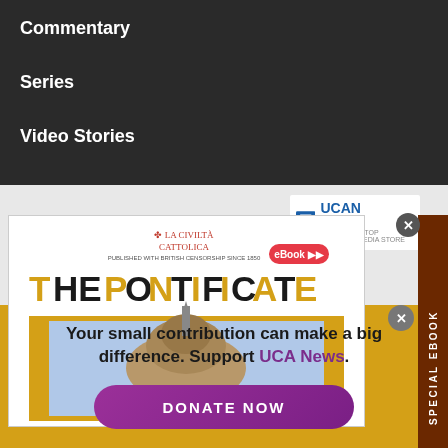Commentary
Series
Video Stories
[Figure (illustration): Book cover for 'The Pontificate' ebook by La Civiltà Cattolica, showing the dome of St. Peter's Basilica on a golden background, with UCAN store logo and 'SPECIAL EBOOK' sidebar label]
Your small contribution can make a big difference. Support UCA News.
DONATE NOW